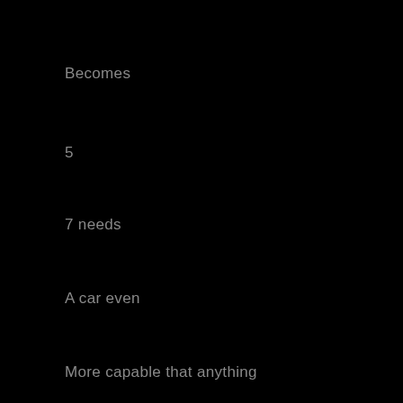Becomes
5
7 needs
A car even
More capable that anything
You've ever driven
And that might be
Too much machine.